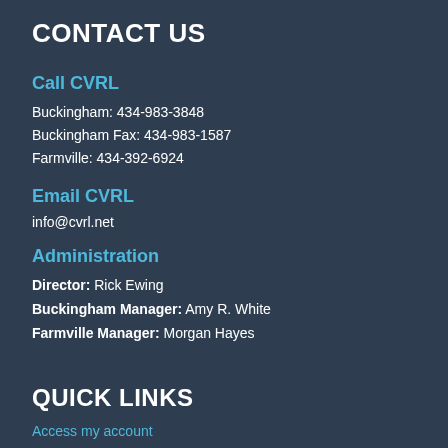CONTACT US
Call CVRL
Buckingham: 434-983-3848
Buckingham Fax: 434-983-1587
Farmville: 434-392-6924
Email CVRL
info@cvrl.net
Administration
Director: Rick Ewing
Buckingham Manager: Amy R. White
Farmville Manager: Morgan Hayes
QUICK LINKS
Access my account
E-books, audiobooks and more...
Employment